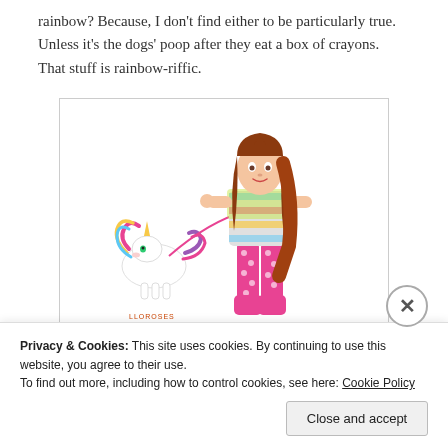rainbow? Because, I don't find either to be particularly true. Unless it's the dogs' poop after they eat a box of crayons. That stuff is rainbow-riffic.
[Figure (illustration): A fashion doll with long auburn hair wearing a striped top, pink polka-dot leggings and pink boots, holding a leash attached to a small colorful unicorn/dog toy. A small multicolored logo appears at bottom left of the image.]
The small balls are sparkly, unicorn poop. Fun!
Privacy & Cookies: This site uses cookies. By continuing to use this website, you agree to their use.
To find out more, including how to control cookies, see here: Cookie Policy